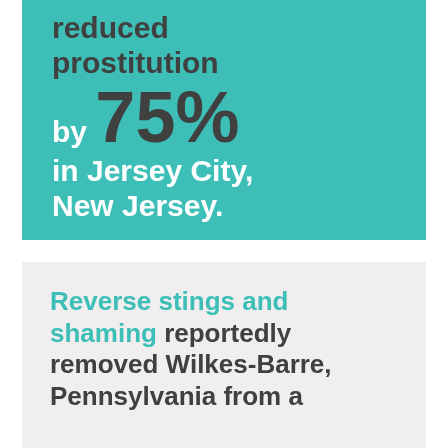reduced prostitution by 75% in Jersey City, New Jersey.
Reverse stings and shaming reportedly removed Wilkes-Barre, Pennsylvania from a